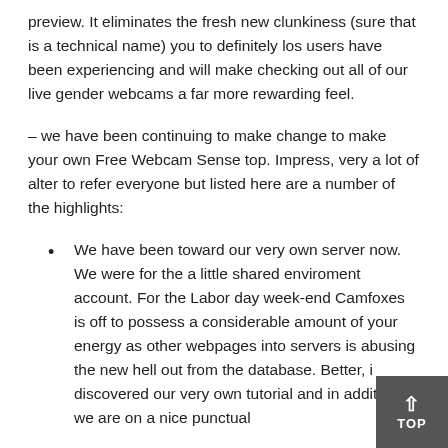preview. It eliminates the fresh new clunkiness (sure that is a technical name) you to definitely los users have been experiencing and will make checking out all of our live gender webcams a far more rewarding feel.
– we have been continuing to make change to make your own Free Webcam Sense top. Impress, very a lot of alter to refer everyone but listed here are a number of the highlights:
We have been toward our very own server now. We were for the a little shared enviroment account. For the Labor day week-end Camfoxes is off to possess a considerable amount of your energy as other webpages into servers is abusing the new hell out from the database. Better, i discovered our very own tutorial and in addition we are on a nice punctual